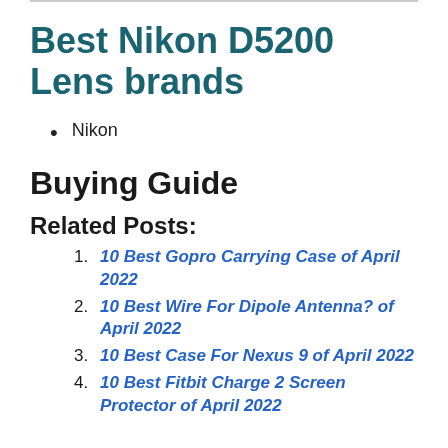Best Nikon D5200 Lens brands
Nikon
Buying Guide
Related Posts:
10 Best Gopro Carrying Case of April 2022
10 Best Wire For Dipole Antenna? of April 2022
10 Best Case For Nexus 9 of April 2022
10 Best Fitbit Charge 2 Screen Protector of April 2022